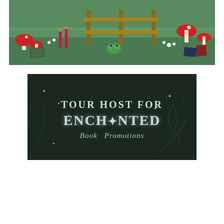[Figure (illustration): Fantasy meadow banner with mushrooms, books, candles, and a wooden fence gate on green grass background]
[Figure (logo): Tour Host for Enchanted Book Promotions dark banner with decorative fantasy lettering in teal/mint on dark background with floral motifs]
[Figure (logo): Audiobookworm Promotions logo: pink club/clover symbol above italic text 'Audiobookworm' and 'Promotions' in a white box with gray border]